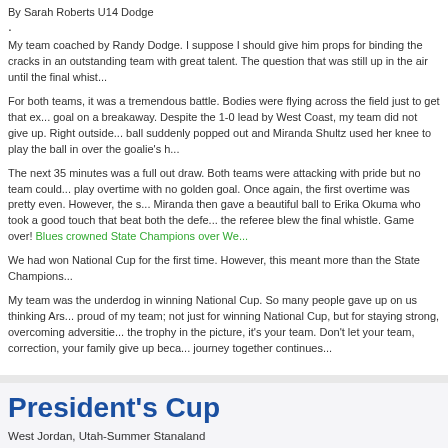By Sarah Roberts U14 Dodge
My team coached by Randy Dodge. I suppose I should give him props for binding the cracks in an outstanding team with great talent. The question that was still up in the air until the final whistle...
For both teams, it was a tremendous battle. Bodies were flying across the field just to get that extra goal on a breakaway. Despite the 1-0 lead by West Coast, my team did not give up. Right outside... ball suddenly popped out and Miranda Shultz used her knee to play the ball in over the goalie's h...
The next 35 minutes was a full out draw. Both teams were attacking with pride but no team could... play overtime with no golden goal. Once again, the first overtime was pretty even. However, the s... Miranda then gave a beautiful ball to Erika Okuma who took a good touch that beat both the defe... the referee blew the final whistle. Game over! Blues crowned State Champions over We...
We had won National Cup for the first time. However, this meant more than the State Champions...
My team was the underdog in winning National Cup. So many people gave up on us thinking Ars... proud of my team; not just for winning National Cup, but for staying strong, overcoming adversitie... the trophy in the picture, it's your team. Don't let your team, correction, your family give up beca... journey together continues...
President's Cup
West Jordan, Utah-Summer Stanaland
[Figure (photo): Team photo outdoors with mountains in background]
The second we were told at practice... Regional's President Cup...